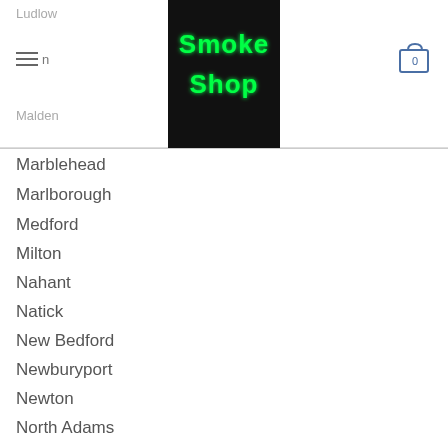Ludlow | Smoke Shop navigation | Malden
[Figure (logo): Smoke Shop neon sign in green on black background]
Marblehead
Marlborough
Medford
Milton
Nahant
Natick
New Bedford
Newburyport
Newton
North Adams
Northampton
Norton
Norwood
Peabody
Pittsfield